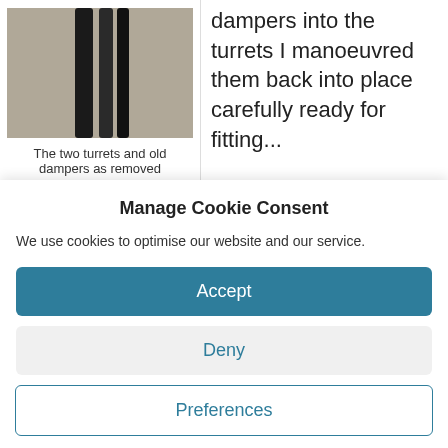[Figure (photo): Photo of two dark shock absorber dampers lying on a gravel surface]
The two turrets and old dampers as removed
dampers into the turrets I manoeuvred them back into place carefully ready for fitting...
Manage Cookie Consent
We use cookies to optimise our website and our service.
Accept
Deny
Preferences